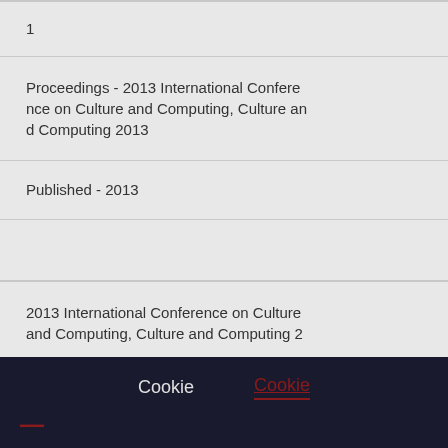1
Proceedings - 2013 International Conference on Culture and Computing, Culture and Computing 2013
Published - 2013
2013 International Conference on Culture and Computing, Culture and Computing 2
Cookie
Cookie